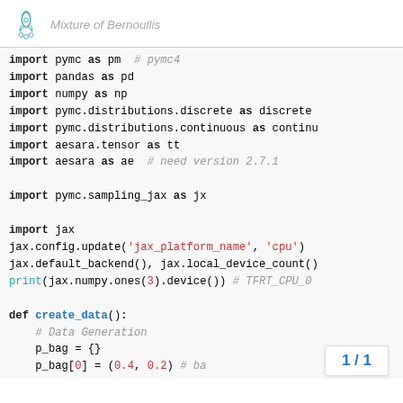Mixture of Bernoullis
import pymc as pm  # pymc4
import pandas as pd
import numpy as np
import pymc.distributions.discrete as discrete
import pymc.distributions.continuous as continu
import aesara.tensor as tt
import aesara as ae  # need version 2.7.1

import pymc.sampling_jax as jx

import jax
jax.config.update('jax_platform_name', 'cpu')
jax.default_backend(), jax.local_device_count()
print(jax.numpy.ones(3).device())  # TFRT_CPU_0

def create_data():
    # Data Generation
    p_bag = {}
    p_bag[0] = (0.4, 0.2)  # ba
1 / 1